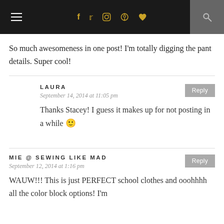Navigation header with hamburger menu, social icons (f, Twitter, Instagram, Pinterest, Heart), and search
So much awesomeness in one post! I'm totally digging the pant details. Super cool!
LAURA — September 14, 2014 at 11:05 pm — Thanks Stacey! I guess it makes up for not posting in a while 🙂
MIE @ SEWING LIKE MAD — September 12, 2014 at 1:16 pm — WAUW!!! This is just PERFECT school clothes and ooohhhh all the color block options! I'm